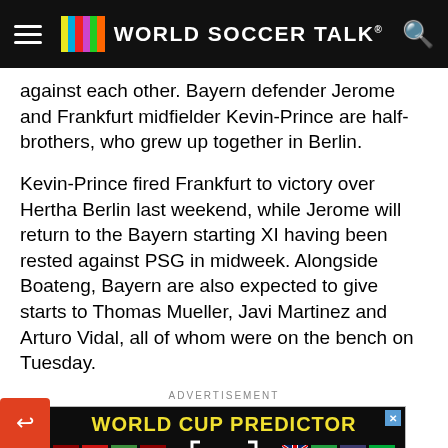WORLD SOCCER TALK
against each other. Bayern defender Jerome and Frankfurt midfielder Kevin-Prince are half-brothers, who grew up together in Berlin.
Kevin-Prince fired Frankfurt to victory over Hertha Berlin last weekend, while Jerome will return to the Bayern starting XI having been rested against PSG in midweek. Alongside Boateng, Bayern are also expected to give starts to Thomas Mueller, Javi Martinez and Arturo Vidal, all of whom were on the bench on Tuesday.
ADVERTISEMENT
[Figure (screenshot): World Cup Predictor advertisement banner with colorful national flags including Qatar, Venezuela, Senegal, Latvia, England, Iran, USA, and Wales arranged below the title text.]